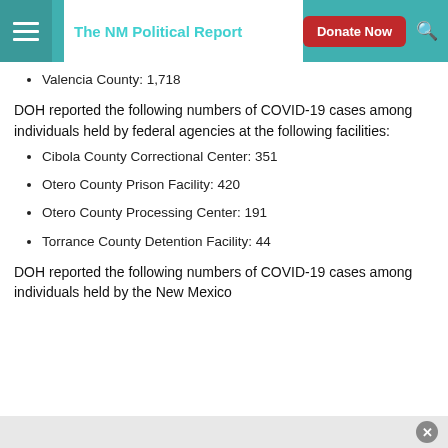The NM Political Report
Valencia County: 1,718
DOH reported the following numbers of COVID-19 cases among individuals held by federal agencies at the following facilities:
Cibola County Correctional Center: 351
Otero County Prison Facility: 420
Otero County Processing Center: 191
Torrance County Detention Facility: 44
DOH reported the following numbers of COVID-19 cases among individuals held by the New Mexico